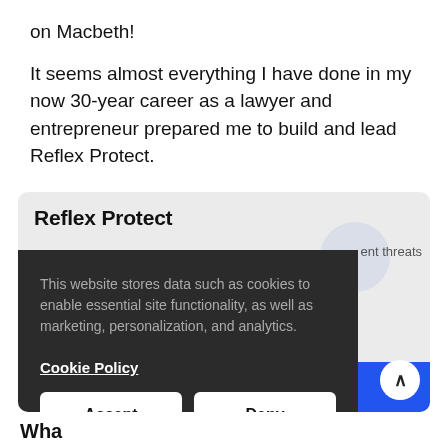on Macbeth!
It seems almost everything I have done in my now 30-year career as a lawyer and entrepreneur prepared me to build and lead Reflex Protect.
[Figure (screenshot): Partial screenshot of the Reflex Protect website showing the brand name heading and a cookie consent banner overlay with Accept and Deny buttons, plus a partially visible blue graphic element.]